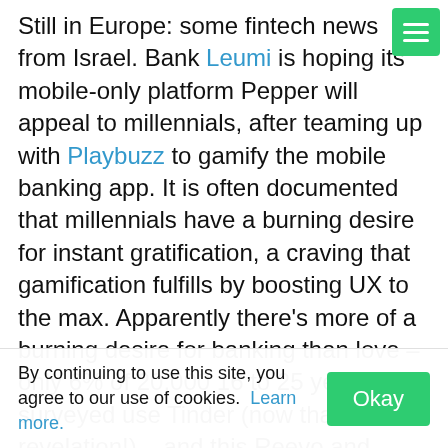Still in Europe: some fintech news from Israel. Bank Leumi is hoping its mobile-only platform Pepper will appeal to millennials, after teaming up with Playbuzz to gamify the mobile banking app. It is often documented that millennials have a burning desire for instant gratification, a craving that gamification fulfills by boosting UX to the max. Apparently there's more of a burning desire for banking than love – only 6% of 20,000 16 to 25 years olds surveyed use Tinder (now that is a revelation!) – and this Reevo and Good Rebels survey also notes how savvy these millennials are with their personal finances. With it finally cemented here that current accounts are more popular than dating, fintech must now be the sexiest industry that
By continuing to use this site, you agree to our use of cookies. Learn more.